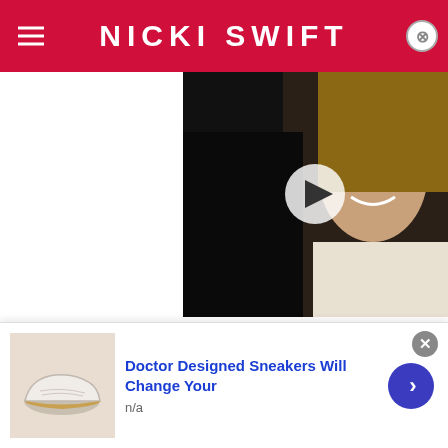NICKI SWIFT
[Figure (photo): Video thumbnail showing a woman with long hair smiling, with a play button overlay, on a dark background.]
In 2017, Lawrence's drinking became a viral hit when Radar published video of the starlet working the pole at a strip club in Vienna while allegedly stripped down to her bra. The actress took the headlines in stride, but set
[Figure (photo): Advertisement showing white doctor-designed sneakers/shoes. Headline: Doctor Designed Sneakers Will Change Your. Subtext: n/a]